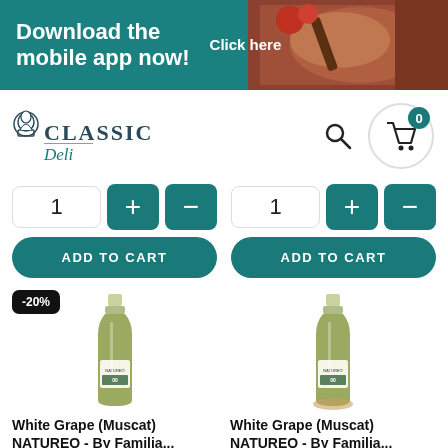[Figure (screenshot): Promotional banner: teal background with food photo on right, text 'Download the mobile app now! Click here']
[Figure (logo): Classic Deli logo with chef hat icon, search icon, and shopping cart with badge showing 0]
[Figure (screenshot): Quantity selector with value 1, plus and minus buttons, and ADD TO CART button (left product)]
[Figure (screenshot): Quantity selector with value 1, plus and minus buttons, and ADD TO CART button (right product)]
[Figure (photo): Wine bottle product image with -20% discount badge - White Grape Muscat NATUREO]
[Figure (photo): Wine bottle product image - White Grape Muscat NATUREO (no discount badge)]
White Grape (Muscat) NATUREO - By Familia...
White Grape (Muscat) NATUREO - By Familia...